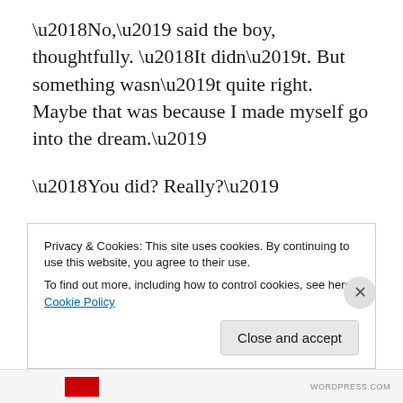‘No,’ said the boy, thoughtfully. ‘It didn’t. But something wasn’t quite right. Maybe that was because I made myself go into the dream.’
‘You did? Really?’
‘Yes. I told myself before I went to sleep that I was going to go back to that place, and I was going to see what happened next. I was going to make my mind do just what I wanted it to do.’
Privacy & Cookies: This site uses cookies. By continuing to use this website, you agree to their use.
To find out more, including how to control cookies, see here: Cookie Policy